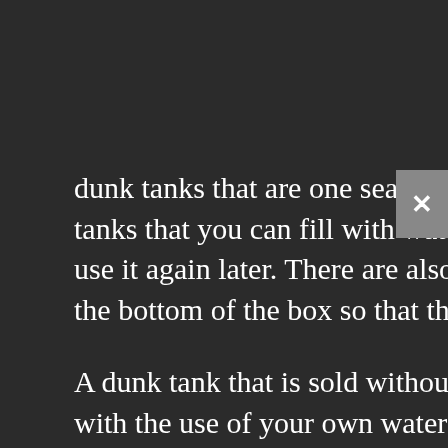dunk tanks that are one seaters and two seaters if you want. There are dunk tanks that you can fill with water, and then drain for storage so you can use it again later. There are also dunk tanks that you use your own tub at the bottom of the box so that the dunk tank is shipped without that portion
A dunk tank that is sold without the tank on the bottom can be complete with the use of your own water barrel or dunk tank added to the mix. All you have to do is make one out of wood or you can find a huge plastic container. Sometimes even the small plastic swimming pools that are used as 'baby' pools in a families back yard is all you need in the dunk tank. Some dunk tanks come as a complete plastic box so you can fill it with balls, worms,